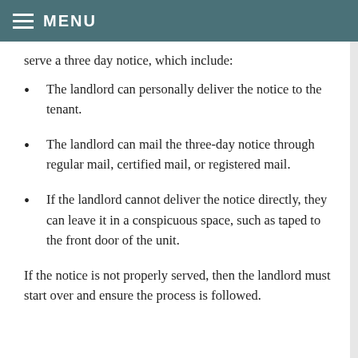MENU
serve a three day notice, which include:
The landlord can personally deliver the notice to the tenant.
The landlord can mail the three-day notice through regular mail, certified mail, or registered mail.
If the landlord cannot deliver the notice directly, they can leave it in a conspicuous space, such as taped to the front door of the unit.
If the notice is not properly served, then the landlord must start over and ensure the process is followed.